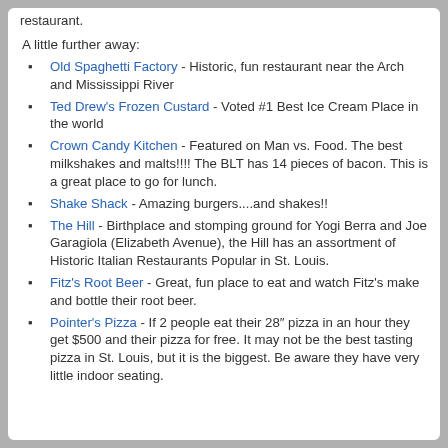restaurant.
A little further away:
Old Spaghetti Factory - Historic, fun restaurant near the Arch and Mississippi River
Ted Drew's Frozen Custard - Voted #1 Best Ice Cream Place in the world
Crown Candy Kitchen - Featured on Man vs. Food. The best milkshakes and malts!!!! The BLT has 14 pieces of bacon. This is a great place to go for lunch.
Shake Shack - Amazing burgers....and shakes!!
The Hill - Birthplace and stomping ground for Yogi Berra and Joe Garagiola (Elizabeth Avenue), the Hill has an assortment of Historic Italian Restaurants Popular in St. Louis.
Fitz's Root Beer - Great, fun place to eat and watch Fitz's make and bottle their root beer.
Pointer's Pizza - If 2 people eat their 28" pizza in an hour they get $500 and their pizza for free. It may not be the best tasting pizza in St. Louis, but it is the biggest. Be aware they have very little indoor seating.